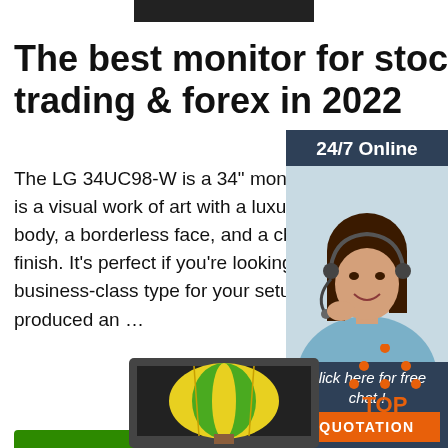[Figure (other): Black rectangular top bar (device top bar UI element)]
The best monitor for stock trading & forex in 2022
The LG 34UC98-W is a 34" monitor mac... is a visual work of art with a luxuriously c... body, a borderless face, and a chrome m... finish. It's perfect if you're looking for a lu... business-class type for your setup. LG h... produced an …
[Figure (photo): Advertisement sidebar: 24/7 Online banner with photo of woman wearing headset smiling, with 'Click here for free chat!' text and orange QUOTATION button]
[Figure (other): Green 'Get Price' button]
[Figure (other): Monitor device image at bottom center showing a hot air balloon on screen]
[Figure (logo): TOP logo with orange dots forming a triangle above the text 'TOP' in orange]